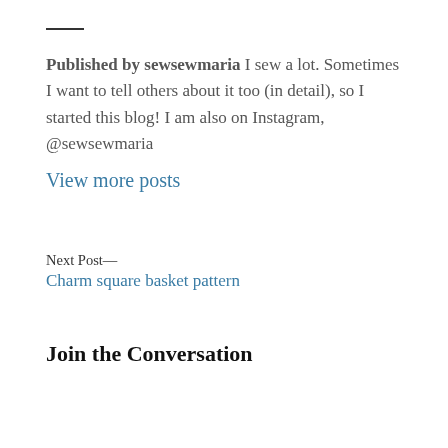Published by sewsewmaria I sew a lot. Sometimes I want to tell others about it too (in detail), so I started this blog! I am also on Instagram, @sewsewmaria
View more posts
Next Post—
Charm square basket pattern
Join the Conversation